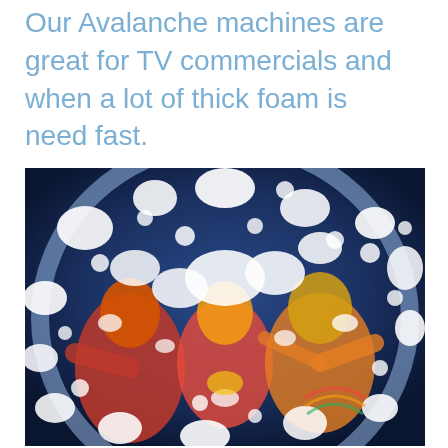Our Avalanche machines are great for TV commercials and when a lot of thick foam is need fast.
[Figure (photo): People covered in thick white foam inside a large inflatable bubble/globe dome, celebrating with arms outstretched. The scene shows colorful costumes covered in foam with a dark blue background.]